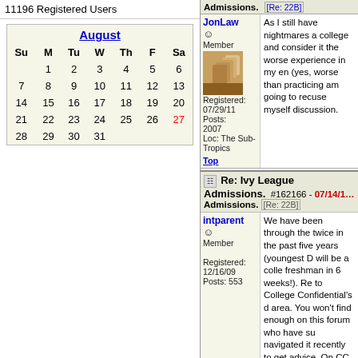11196 Registered Users
| Su | M | Tu | W | Th | F | Sa |
| --- | --- | --- | --- | --- | --- | --- |
|  | 1 | 2 | 3 | 4 | 5 | 6 |
| 7 | 8 | 9 | 10 | 11 | 12 | 13 |
| 14 | 15 | 16 | 17 | 18 | 19 | 20 |
| 21 | 22 | 23 | 24 | 25 | 26 | 27 |
| 28 | 29 | 30 | 31 |  |  |  |
Admissions. [Re: 22B]
JonLaw
Member
Registered: 07/29/11
Posts: 2007
Loc: The Sub-Tropics
As I still have nightmares about college and consider it the worse experience in my entire (yes, worse than practicing) am going to recuse myself discussion.
Top
Re: Ivy League Admissions. #162166 - 07/14/1 [Re: 22B]
intparent
Member
Registered: 12/16/09
Posts: 553
We have been through the twice in the past five years (youngest D will be a college freshman in 6 weeks!). Re to College Confidential's d area. You won't find enough on this forum who have su navigated it recently to get advice. On CC you can rea the ins and outs of how to your need based and meri financial aid, hear about h balance grades vs. test sc